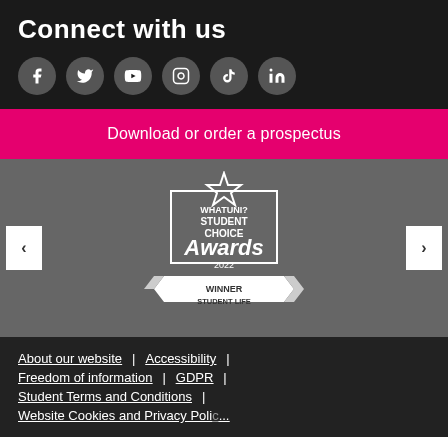Connect with us
[Figure (infographic): Social media icons: Facebook, Twitter, YouTube, Instagram, TikTok, LinkedIn in grey circles on black background]
Download or order a prospectus
[Figure (logo): WhatUni? Student Choice Awards 2022 - Winner Student Life badge/logo in white on grey background with left and right navigation arrows]
About our website | Accessibility | Freedom of information | GDPR | Student Terms and Conditions | Website Cookies and Privacy Policy
About our website | Accessibility | Freedom of information | GDPR | Student Terms and Conditions | Website Cookies and Privacy Policy